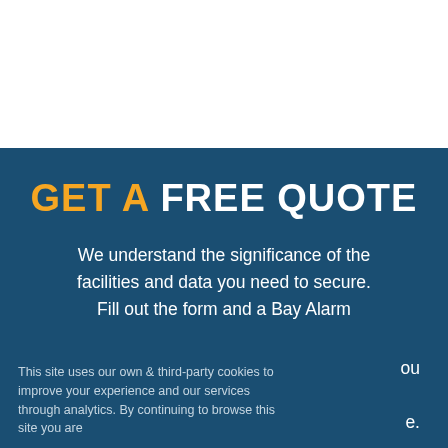GET A FREE QUOTE
We understand the significance of the facilities and data you need to secure. Fill out the form and a Bay Alarm ou e.
This site uses our own & third-party cookies to improve your experience and our services through analytics. By continuing to browse this site you are